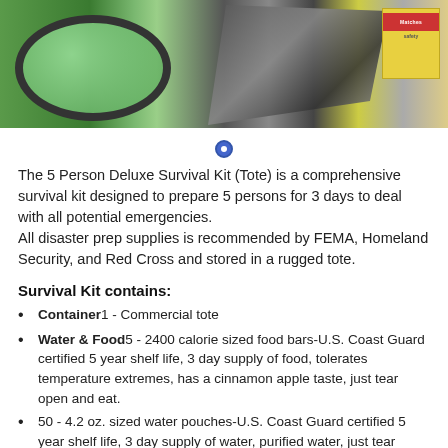[Figure (photo): Photo of emergency survival kit contents including green safety goggles on the left, pliers/tools in the center, and a box of matches on the right, displayed on a light background.]
The 5 Person Deluxe Survival Kit (Tote) is a comprehensive survival kit designed to prepare 5 persons for 3 days to deal with all potential emergencies.
All disaster prep supplies is recommended by FEMA, Homeland Security, and Red Cross and stored in a rugged tote.
Survival Kit contains:
Container1 - Commercial tote
Water & Food5 - 2400 calorie sized food bars-U.S. Coast Guard certified 5 year shelf life, 3 day supply of food, tolerates temperature extremes, has a cinnamon apple taste, just tear open and eat.
50 - 4.2 oz. sized water pouches-U.S. Coast Guard certified 5 year shelf life, 3 day supply of water, purified water, just tear